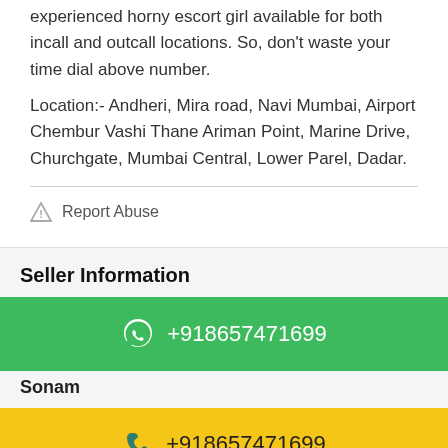experienced horny escort girl available for both incall and outcall locations. So, don't waste your time dial above number.
Location:- Andheri, Mira road, Navi Mumbai, Airport Chembur Vashi Thane Ariman Point, Marine Drive, Churchgate, Mumbai Central, Lower Parel, Dadar.
Report Abuse
Seller Information
+918657471699
Sonam
+918657471699